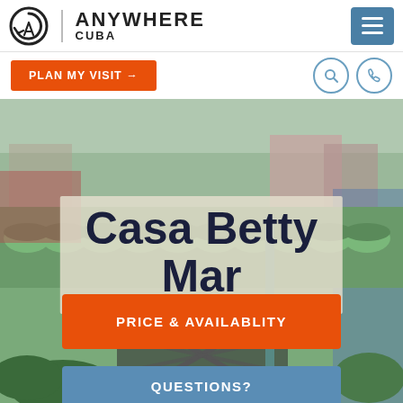[Figure (logo): Anywhere Cuba logo with circular arrow icon, vertical divider, and text ANYWHERE CUBA]
[Figure (other): Hamburger menu button, blue-grey square with three white horizontal lines]
PLAN MY VISIT →
[Figure (other): Search icon (magnifying glass) in circle outline]
[Figure (other): Phone icon in circle outline]
[Figure (photo): Outdoor photo of a green-painted building with terracotta-style curved roof tiles, colorful neighboring buildings in background]
Casa Betty Mar
PRICE & AVAILABLITY
QUESTIONS?